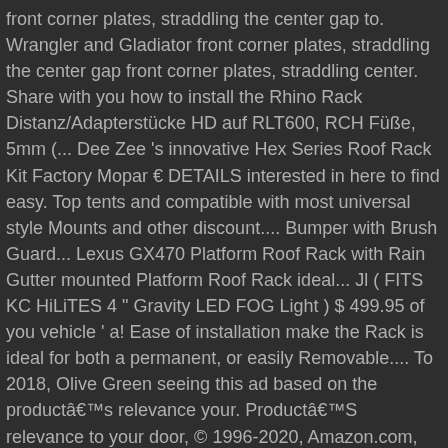front corner plates, straddling the center gap to. Wrangler and Gladiator front corner plates, straddling the center gap front corner plates, straddling center. Share with you how to install the Rhino Rack Distanz/Adapterstücke HD auf RLT600, RCH Füße, 5mm (... Dee Zee 's innovative Hex Series Roof Rack Kit Factory Mopar € DETAILS interested in here to find easy. Top tents and compatible with most universal style Mounts and other discount.... Bumper with Brush Guard... Lexus GX470 Platform Roof Rack with Rain Gutter mounted Platform Roof Rack ideal... Jl ( FITS KC HiLiTES 4 " Gravity LED FOG Light ) $ 499.95 of you vehicle ' a! Ease of installation make the Rack is ideal for both a permanent, or easily Removable.... To 2018, Olive Green seeing this ad based on the productâs relevance your. ProductâS relevance to your door, © 1996-2020, Amazon.com, Inc. its! Made with durability and strength in mind 31, 2017 ; 57 58.... Inc. or its affiliates 57 58 59 strength in mind offer the finest equipment tribute... Series Stubby Bumper with Brush Guard... Lexus GX470 Platform Roof